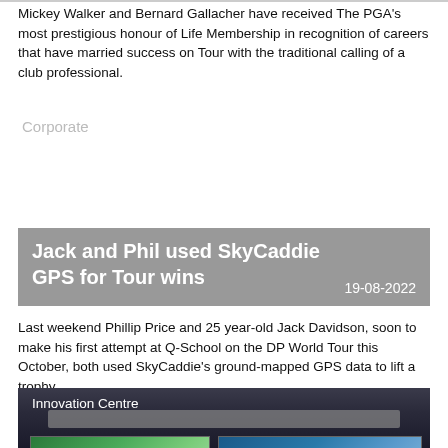Mickey Walker and Bernard Gallacher have received The PGA's most prestigious honour of Life Membership in recognition of careers that have married success on Tour with the traditional calling of a club professional.
Corporate
Jack and Phil used SkyCaddie GPS for Tour wins
19-08-2022
Last weekend Phillip Price and 25 year-old Jack Davidson, soon to make his first attempt at Q-School on the DP World Tour this October, both used SkyCaddie's ground-mapped GPS data to lift a trophy
[Figure (photo): Indoor golf innovation centre with two large screens showing golf course images, ceiling panels and projectors visible, person visible at bottom]